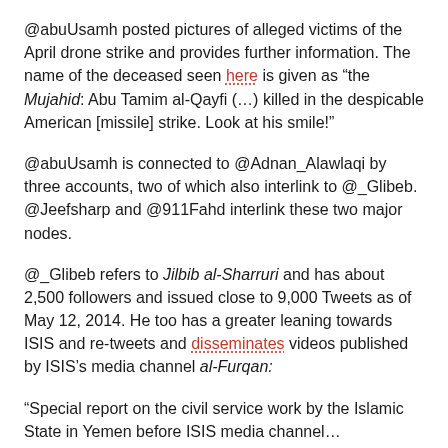@abuUsamh posted pictures of alleged victims of the April drone strike and provides further information. The name of the deceased seen here is given as "the Mujahid: Abu Tamim al-Qayfi (…) killed in the despicable American [missile] strike. Look at his smile!"
@abuUsamh is connected to @Adnan_Alawlaqi by three accounts, two of which also interlink to @_Glibeb. @Jeefsharp and @911Fahd interlink these two major nodes.
@_Glibeb refers to Jilbib al-Sharruri and has about 2,500 followers and issued close to 9,000 Tweets as of May 12, 2014. He too has a greater leaning towards ISIS and re-tweets and disseminates videos published by ISIS's media channel al-Furqan:
"Special report on the civil service work by the Islamic State in Yemen before ISIS media channel...